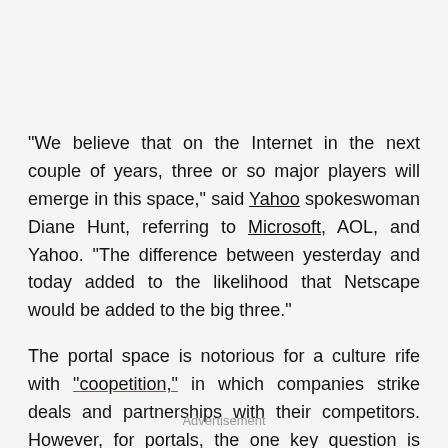"We believe that on the Internet in the next couple of years, three or so major players will emerge in this space," said Yahoo spokeswoman Diane Hunt, referring to Microsoft, AOL, and Yahoo. "The difference between yesterday and today added to the likelihood that Netscape would be added to the big three."
The portal space is notorious for a culture rife with "coopetition," in which companies strike deals and partnerships with their competitors. However, for portals, the one key question is whether AOL plans to sever relationships already forged with Netcenter.
Advertisement